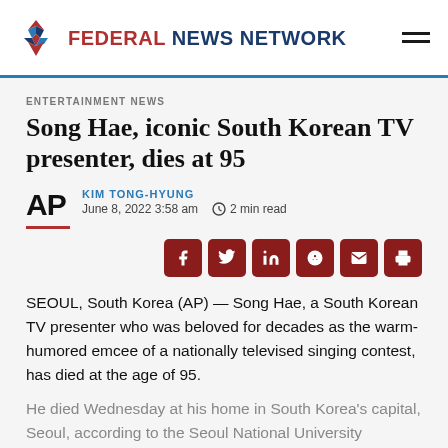FEDERAL NEWS NETWORK
ENTERTAINMENT NEWS
Song Hae, iconic South Korean TV presenter, dies at 95
KIM TONG-HYUNG
June 8, 2022 3:58 am
2 min read
SEOUL, South Korea (AP) — Song Hae, a South Korean TV presenter who was beloved for decades as the warm-humored emcee of a nationally televised singing contest, has died at the age of 95.
He died Wednesday at his home in South Korea's capital, Seoul, according to the Seoul National University Hospital. Hospital officials didn't specify the cause of death.